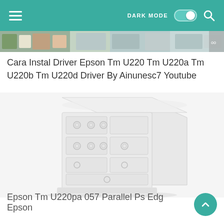≡   DARK MODE  [toggle]   🔍
[Figure (screenshot): Partial screenshot of a webpage image strip at top]
Cara Instal Driver Epson Tm U220 Tm U220a Tm U220b Tm U220d Driver By Ainunesc7 Youtube
[Figure (photo): White chest of drawers / dresser with circular handles on multiple drawers, shown on light gray background]
Epson Tm U220pa 057 Parallel Ps Edg Epson